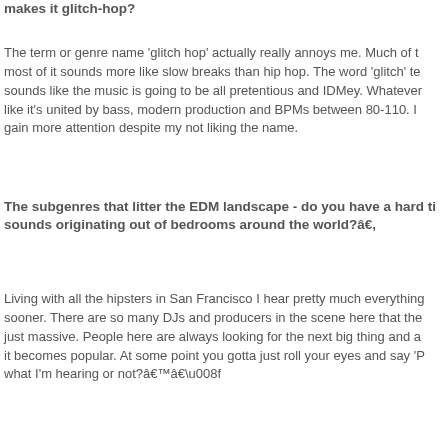makes it glitch-hop?
The term or genre name 'glitch hop' actually really annoys me. Much of the most of it sounds more like slow breaks than hip hop. The word 'glitch' te sounds like the music is going to be all pretentious and IDMey. Whatever like it's united by bass, modern production and BPMs between 80-110. I gain more attention despite my not liking the name.
The subgenres that litter the EDM landscape - do you have a hard ti sounds originating out of bedrooms around the world?â€,
Living with all the hipsters in San Francisco I hear pretty much everything sooner. There are so many DJs and producers in the scene here that the just massive. People here are always looking for the next big thing and a it becomes popular. At some point you gotta just roll your eyes and say 'P what I'm hearing or not?â€™â€